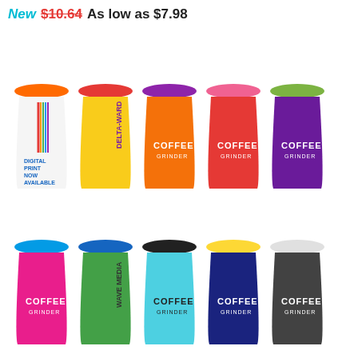New  $10.64  As low as $7.98
[Figure (photo): Ten colorful coffee travel cups/tumblers arranged in two rows of five. Top row (left to right): white cup with orange lid and rainbow/paintbrush digital print design, yellow cup with red lid and 'DELTA-WARD' text, orange cup with purple lid and 'COFFEE GRINDER' logo, red cup with pink lid and 'COFFEE GRINDER' logo, purple cup with green lid and 'COFFEE GRINDER' logo. Bottom row (left to right): hot pink cup with blue lid and 'COFFEE GRINDER' logo, green cup with blue lid and 'WAVE MEDIA' text, light blue cup with black lid and 'COFFEE GRINDER' logo, dark blue cup with yellow lid and 'COFFEE GRINDER' logo, dark gray cup with white lid and 'COFFEE GRINDER' logo.]